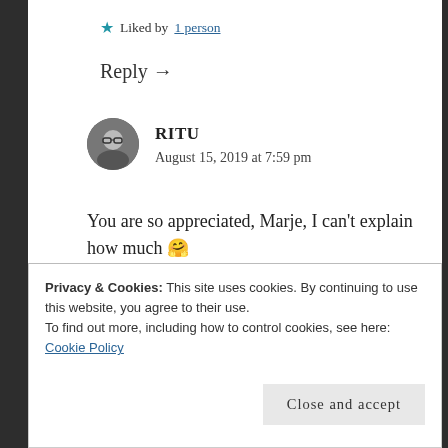★ Liked by 1 person
Reply →
RITU
August 15, 2019 at 7:59 pm
You are so appreciated, Marje, I can't explain how much 🤗
★ Liked by 1 person
Privacy & Cookies: This site uses cookies. By continuing to use this website, you agree to their use.
To find out more, including how to control cookies, see here: Cookie Policy
Close and accept